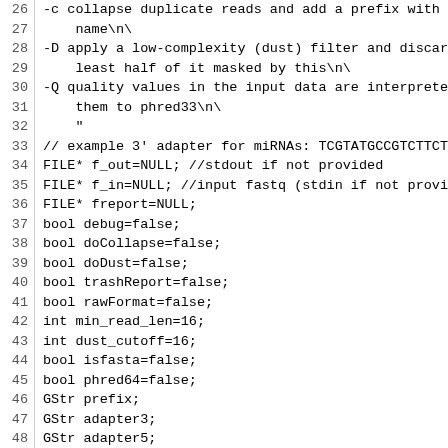[Figure (screenshot): Source code listing showing lines 26-48 of a C/C++ program with line numbers on the left, featuring variable declarations and a usage string for a bioinformatics tool (adapter trimmer).]